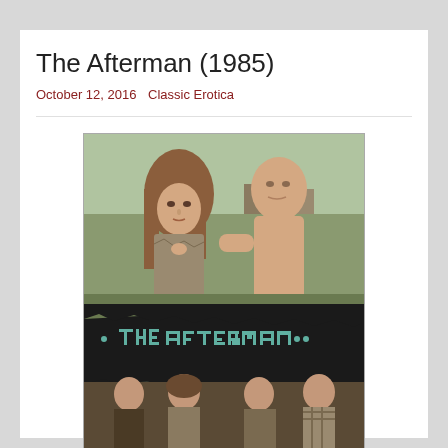The Afterman (1985)
October 12, 2016  Classic Erotica
[Figure (photo): Movie poster for The Afterman (1985) showing a woman with long hair in torn clothing facing a bald shirtless man in an outdoor scene, with a torn paper banner reading 'THE AFTERMAN' in teal pixel-style lettering, and a smaller scene below showing multiple people together.]